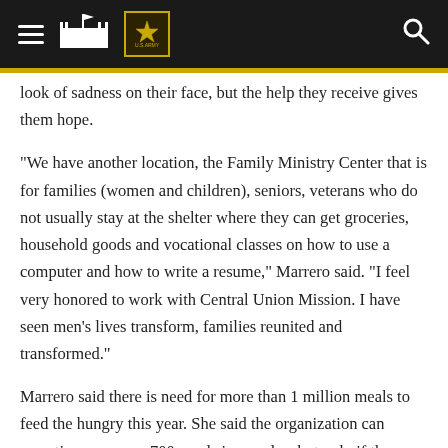U.S. Army navigation header with hamburger menu, fort icon, Army star badge, and search icon
look of sadness on their face, but the help they receive gives them hope.
“We have another location, the Family Ministry Center that is for families (women and children), seniors, veterans who do not usually stay at the shelter where they can get groceries, household goods and vocational classes on how to use a computer and how to write a resume,” Marrero said. “I feel very honored to work with Central Union Mission. I have seen men’s lives transform, families reunited and transformed.”
Marrero said there is need for more than 1 million meals to feed the hungry this year. She said the organization can sometimes average 700 meals in one day, but only if they have enough money.
“We want to continue to do things, without having to eliminate or cutback on a program,” she said. “We have had to do that last year...